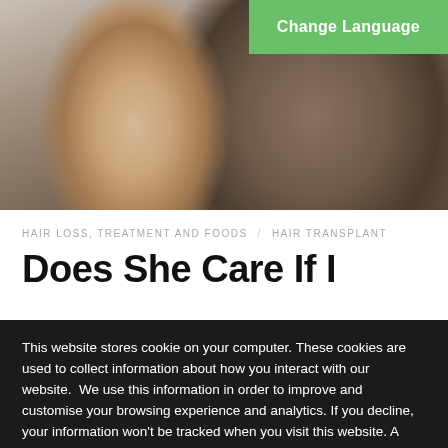[Figure (photo): A woman touching a smiling bearded man's hair, both looking at each other intimately, indoor setting with soft lighting]
Change Language
HAIR LOSS, TREATMENT AND FOODS   HAIR TRANSPLANT
Does She Care If I
This website stores cookie on your computer. These cookies are used to collect information about how you interact with our website.  We use this information in order to improve and customise your browsing experience and analytics. If you decline, your information won't be tracked when you visit this website. A single cookie will be used in your browser to remember your preference not to be tracked. View more
Cookies settings
✓ Accept
We are bombarded with images of perfection and loss of success. We are fed how we should look. Filtered to